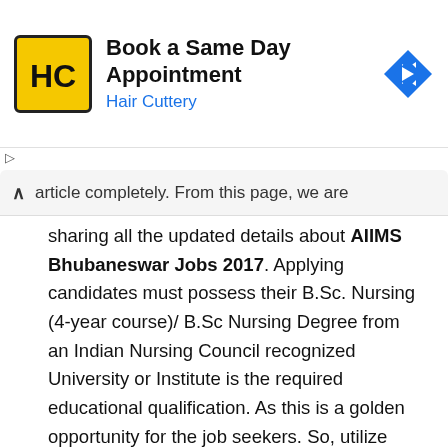[Figure (infographic): Advertisement banner for Hair Cuttery showing logo, 'Book a Same Day Appointment' text, and navigation arrow icon]
article completely. From this page, we are sharing all the updated details about AIIMS Bhubaneswar Jobs 2017. Applying candidates must possess their B.Sc. Nursing (4-year course)/ B.Sc Nursing Degree from an Indian Nursing Council recognized University or Institute is the required educational qualification. As this is a golden opportunity for the job seekers. So, utilize this opportunity and submit the application forms before the last date. Fill the online application form and submit before 25th December 2017 through online mode. Candidates who are eligible